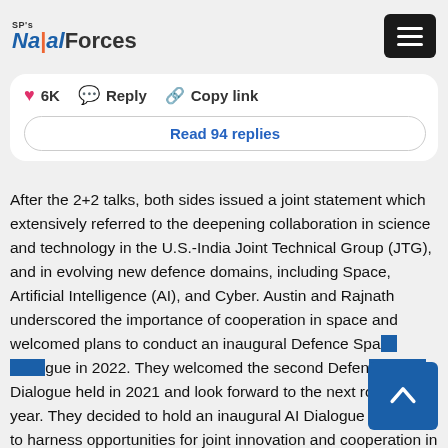SP's Naval Forces
6K  Reply  Copy link
Read 94 replies
After the 2+2 talks, both sides issued a joint statement which extensively referred to the deepening collaboration in science and technology in the U.S.-India Joint Technical Group (JTG), and in evolving new defence domains, including Space, Artificial Intelligence (AI), and Cyber. Austin and Rajnath underscored the importance of cooperation in space and welcomed plans to conduct an inaugural Defence Space Dialogue in 2022. They welcomed the second Defence Cyber Dialogue held in 2021 and look forward to the next round this year. They decided to hold an inaugural AI Dialogue this year to harness opportunities for joint innovation and cooperation in new domains. The Ministers also discussed additional training